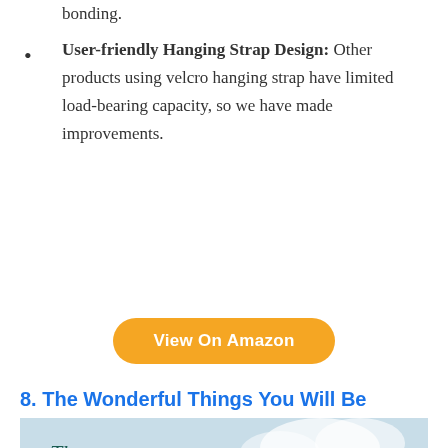bonding.
User-friendly Hanging Strap Design: Other products using velcro hanging strap have limited load-bearing capacity, so we have made improvements.
View On Amazon
8. The Wonderful Things You Will Be
[Figure (photo): Book cover image showing 'The Wonderful Things You Will Be' text in decorative script with colorful balloons on a light blue sky background.]